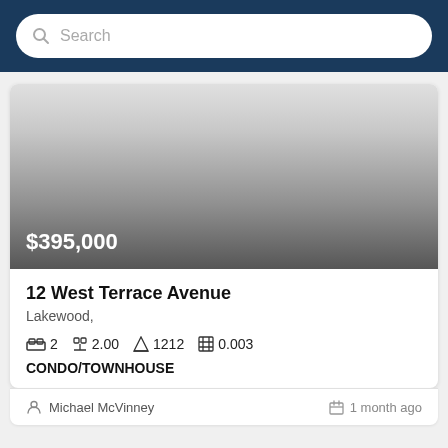Search
[Figure (photo): Listing photo placeholder with gradient, showing price $395,000 overlaid at bottom left]
12 West Terrace Avenue
Lakewood,
2   2.00   1212   0.003
CONDO/TOWNHOUSE
Michael McVinney
1 month ago